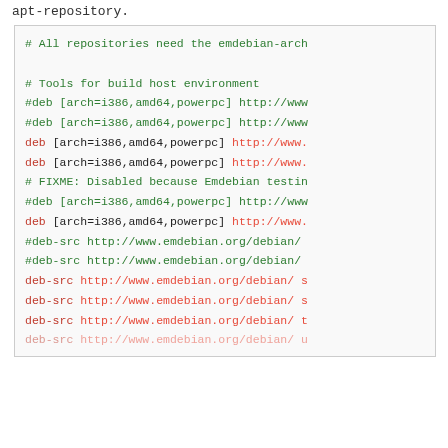apt-repository.
# All repositories need the emdebian-arch

# Tools for build host environment
#deb [arch=i386,amd64,powerpc] http://www
#deb [arch=i386,amd64,powerpc] http://www
deb [arch=i386,amd64,powerpc] http://www.
deb [arch=i386,amd64,powerpc] http://www.
# FIXME: Disabled because Emdebian testin
#deb [arch=i386,amd64,powerpc] http://www
deb [arch=i386,amd64,powerpc] http://www.
#deb-src http://www.emdebian.org/debian/
#deb-src http://www.emdebian.org/debian/
deb-src http://www.emdebian.org/debian/ s
deb-src http://www.emdebian.org/debian/ s
deb-src http://www.emdebian.org/debian/ t
deb-src http://www.emdebian.org/debian/ u